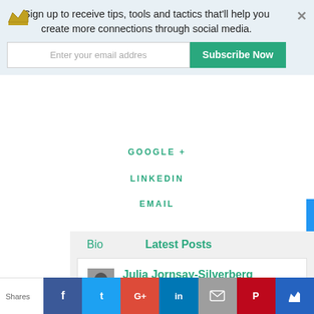Sign up to receive tips, tools and tactics that'll help you create more connections through social media.
Enter your email addres
Subscribe Now
GOOGLE +
LINKEDIN
EMAIL
Bio
Latest Posts
Julia Jornsay-Silverberg
Julia serves as a social media consultant & coach for small businesses that want to build their brand
Shares